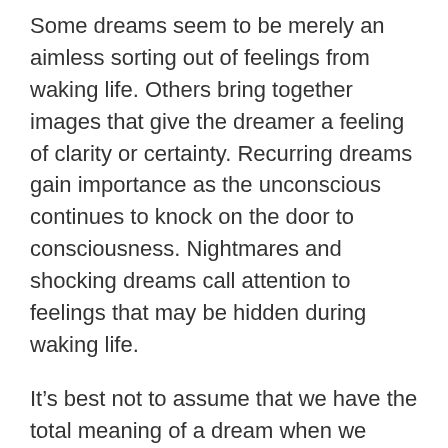Some dreams seem to be merely an aimless sorting out of feelings from waking life. Others bring together images that give the dreamer a feeling of clarity or certainty. Recurring dreams gain importance as the unconscious continues to knock on the door to consciousness. Nightmares and shocking dreams call attention to feelings that may be hidden during waking life.
It’s best not to assume that we have the total meaning of a dream when we have one interpretation. Dreams, like ourselves, are multifaceted. Keeping yourself open to the mystery of your dreams brings greater insight and awareness over time.